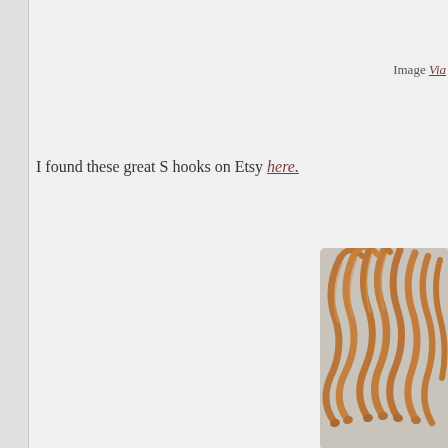Image Via
I found these great S hooks on Etsy here.
[Figure (photo): Close-up photograph of multiple copper/bronze S hooks bundled together, showing their curved metallic forms against a light grey fabric background. The hooks appear handmade or artisan-crafted with slightly irregular surfaces.]